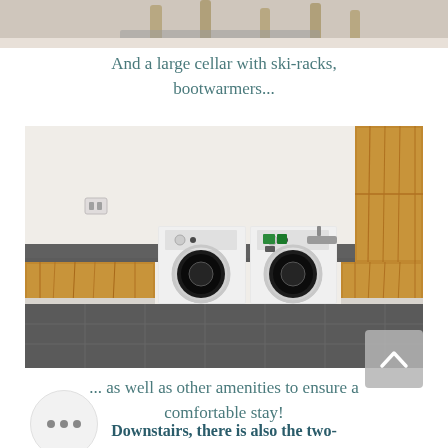[Figure (photo): Top cropped photo showing furniture legs and what appears to be a rug or carpet on a light floor]
And a large cellar with ski-racks, bootwarmers...
[Figure (photo): Laundry room with two white washing machines/dryers under a dark grey countertop, wooden cabinet fronts in warm oak tone, tall wooden cabinet on the right, dark tile floor, white walls with electrical outlet visible]
... as well as other amenities to ensure a comfortable stay!
Downstairs, there is also the two-